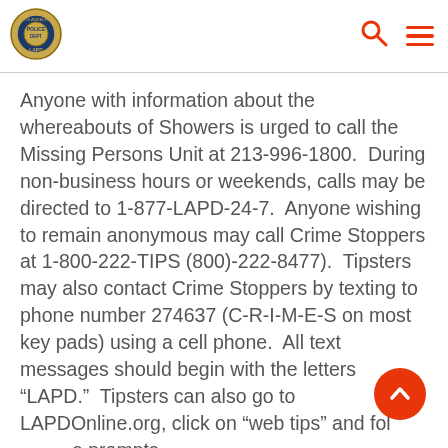LAPD logo, search icon, menu icon
Anyone with information about the whereabouts of Showers is urged to call the Missing Persons Unit at 213-996-1800.  During non-business hours or weekends, calls may be directed to 1-877-LAPD-24-7.  Anyone wishing to remain anonymous may call Crime Stoppers at 1-800-222-TIPS (800)-222-8477).  Tipsters may also contact Crime Stoppers by texting to phone number 274637 (C-R-I-M-E-S on most key pads) using a cell phone.  All text messages should begin with the letters “LAPD.”  Tipsters can also go to LAPDOnline.org, click on “web tips” and follow the prompts.